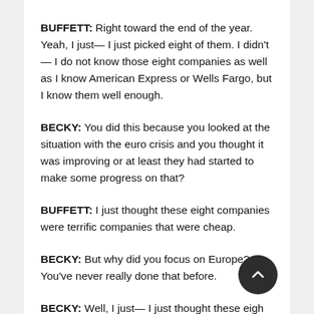BUFFETT: Right toward the end of the year. Yeah, I just— I just picked eight of them. I didn't — I do not know those eight companies as well as I know American Express or Wells Fargo, but I know them well enough.
BECKY: You did this because you looked at the situation with the euro crisis and you thought it was improving or at least they had started to make some progress on that?
BUFFETT: I just thought these eight companies were terrific companies that were cheap.
BECKY: But why did you focus on Europe? You've never really done that before.
BECKY: Well, I just— I just thought these eight companies were cheap. And they obviously were affected by the European crisis. And in the end